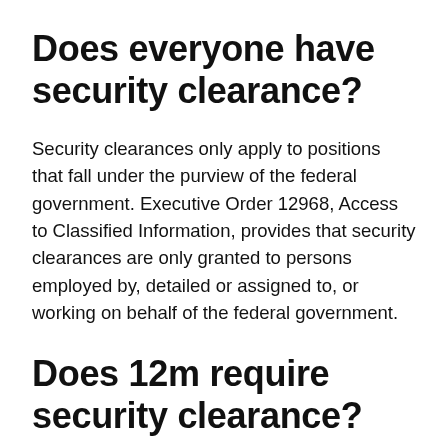Does everyone have security clearance?
Security clearances only apply to positions that fall under the purview of the federal government. Executive Order 12968, Access to Classified Information, provides that security clearances are only granted to persons employed by, detailed or assigned to, or working on behalf of the federal government.
Does 12m require security clearance?
You'll also need a valid state driver's license. The Department of Defense does not require